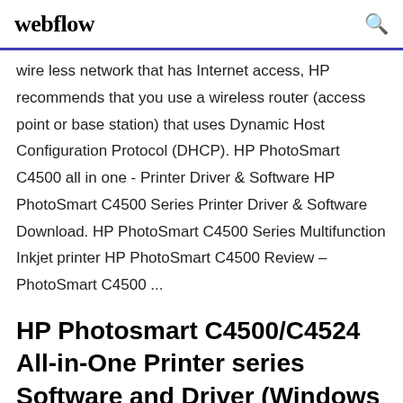webflow
wire less network that has Internet access, HP recommends that you use a wireless router (access point or base station) that uses Dynamic Host Configuration Protocol (DHCP). HP PhotoSmart C4500 all in one - Printer Driver & Software HP PhotoSmart C4500 Series Printer Driver & Software Download. HP PhotoSmart C4500 Series Multifunction Inkjet printer HP PhotoSmart C4500 Review – PhotoSmart C4500 ...
HP Photosmart C4500/C4524 All-in-One Printer series Software and Driver (Windows 7)